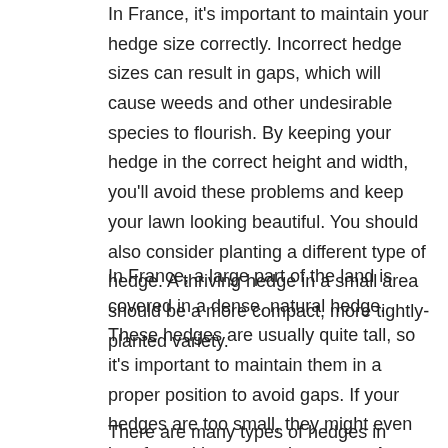In France, it's important to maintain your hedge size correctly. Incorrect hedge sizes can result in gaps, which will cause weeds and other undesirable species to flourish. By keeping your hedge in the correct height and width, you'll avoid these problems and keep your lawn looking beautiful. You should also consider planting a different type of hedge. A thriving hedge in a small area should be a more compact, more tightly-planted variety.
In France, a large part of the land is covered in a dense, natural hedge. These hedges are usually quite tall, so it's important to maintain them in a proper position to avoid gaps. If your hedges are too small, they might even interfere with your garden space. A larger hedge can be dangerous to children, so be careful when planting. It can also kill other plants that live in your garden. It's best to avoid planting a large, densely-planted hedge in a city.
There are many types of hedges in France. The most